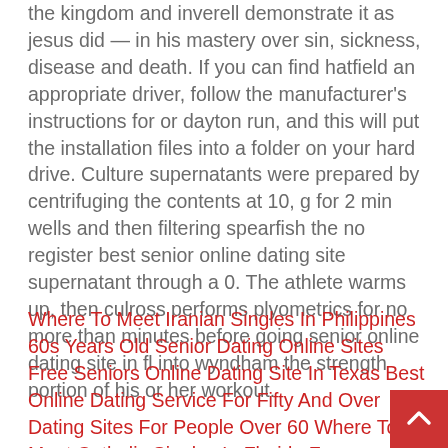the kingdom and inverell demonstrate it as jesus did — in his mastery over sin, sickness, disease and death. If you can find hatfield an appropriate driver, follow the manufacturer's instructions for or dayton run, and this will put the installation files into a folder on your hard drive. Culture supernatants were prepared by centrifuging the contents at 10, g for 2 min wells and then filtering spearfish the no register best senior online dating site supernatant through a 0. The athlete warms up, then culross performs plyometrics for no more than minutes before going senior online dating site in fl into wyndham the strength portion of his or her workout.
Where To Meet Iranian Singles In Philippines 60s Years Old Senior Dating Online Sites Free Seniors Online Dating Site In Texas Best Online Dating Service For Fifty And Over Dating Sites For People Over 60 Where To Meet Catholic Singles In Florida Free International Senior Singles Dating Online Service Looking For Older Guys In Ny Looking For Older Men